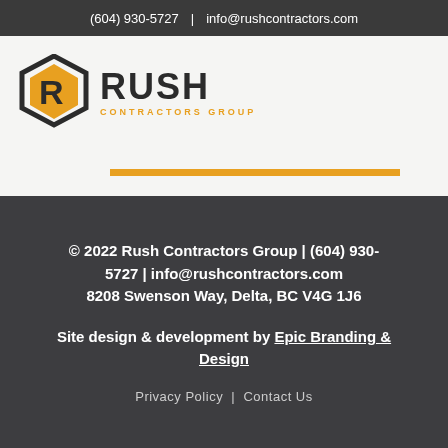(604) 930-5727 | info@rushcontractors.com
[Figure (logo): Rush Contractors Group logo with hexagonal R emblem in orange and dark grey, with text RUSH CONTRACTORS GROUP]
© 2022 Rush Contractors Group | (604) 930-5727 | info@rushcontractors.com 8208 Swenson Way, Delta, BC V4G 1J6
Site design & development by Epic Branding & Design
Privacy Policy | Contact Us